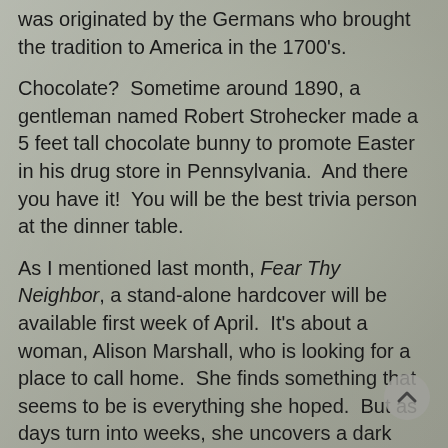was originated by the Germans who brought the tradition to America in the 1700's.
Chocolate?  Sometime around 1890, a gentleman named Robert Strohecker made a 5 feet tall chocolate bunny to promote Easter in his drug store in Pennsylvania.  And there you have it!  You will be the best trivia person at the dinner table.
As I mentioned last month, Fear Thy Neighbor, a stand-alone hardcover will be available first week of April.  It's about a woman, Alison Marshall, who is looking for a place to call home.  She finds something that seems to be is everything she hoped.  But as days turn into weeks, she uncovers a dark side to this supposedly peaceful haven, but something clandestine is lurking among the locals, and